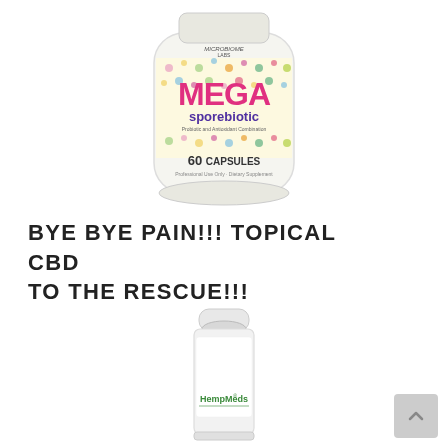[Figure (photo): Microbiome Labs MegaSporebiotic supplement bottle, 60 capsules, white bottle with colorful dot pattern and pink/purple MEGA sporebiotic branding]
BYE BYE PAIN!!! TOPICAL CBD TO THE RESCUE!!!
[Figure (photo): HempMeds topical CBD roll-on product, white cylindrical bottle with green HempMeds branding]